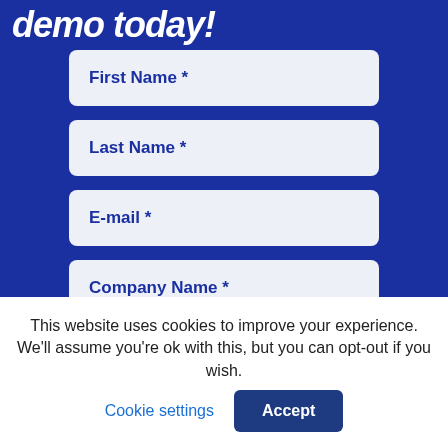demo today!
First Name *
Last Name *
E-mail *
Company Name *
This website uses cookies to improve your experience. We'll assume you're ok with this, but you can opt-out if you wish.
Cookie settings
Accept